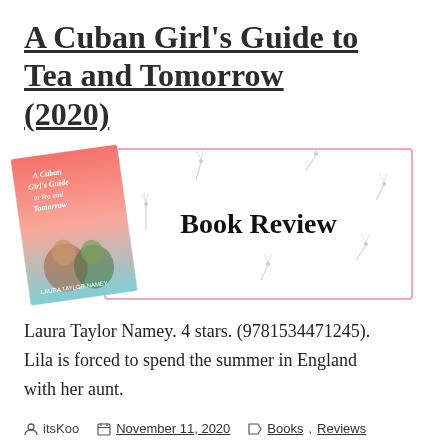A Cuban Girl's Guide to Tea and Tomorrow (2020)
[Figure (illustration): Book cover of 'A Cuban Girl's Guide to Tea and Tomorrow' tilted at an angle, next to a pink-bordered banner with cursive 'Book Review' text and dandelion seeds scattered around.]
Laura Taylor Namey. 4 stars. (9781534471245). Lila is forced to spend the summer in England with her aunt.
itsKoo  November 11, 2020  Books, Reviews